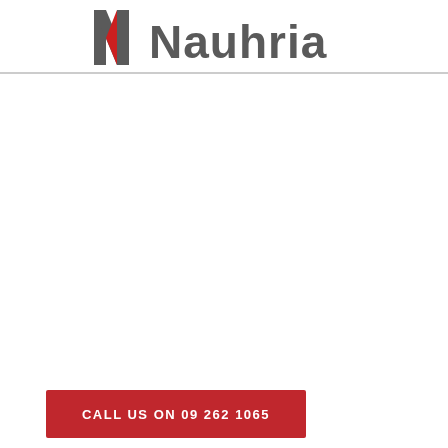[Figure (logo): Nauhria company logo with stylized N symbol in grey and red, followed by the text 'Nauhria' in bold grey letters]
[Figure (logo): Red call-to-action banner reading 'CALL US ON 09 262 1065' in white bold text]